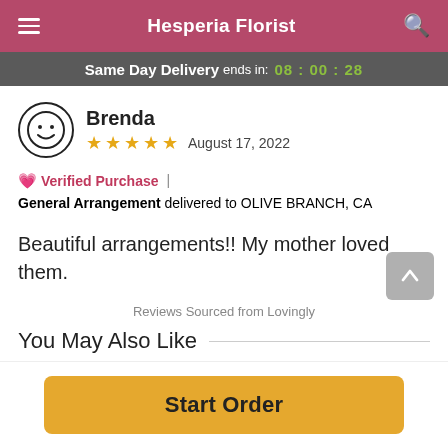Hesperia Florist
Same Day Delivery ends in: 08 : 00 : 28
Brenda
★★★★★  August 17, 2022
💗 Verified Purchase | General Arrangement delivered to OLIVE BRANCH, CA
Beautiful arrangements!! My mother loved them.
Reviews Sourced from Lovingly
You May Also Like
Start Order